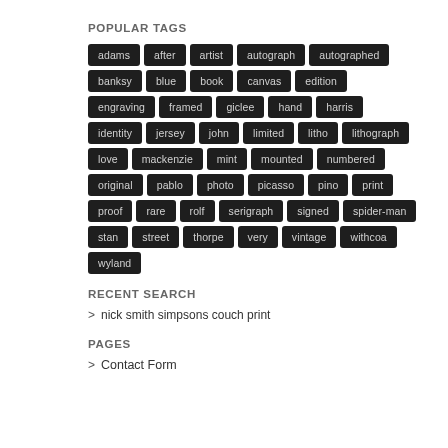POPULAR TAGS
adams
after
artist
autograph
autographed
banksy
blue
book
canvas
edition
engraving
framed
giclee
hand
harris
identity
jersey
john
limited
litho
lithograph
love
mackenzie
mint
mounted
numbered
original
pablo
photo
picasso
pino
print
proof
rare
rolf
serigraph
signed
spider-man
stan
street
thorpe
very
vintage
withcoa
wyland
RECENT SEARCH
nick smith simpsons couch print
PAGES
Contact Form